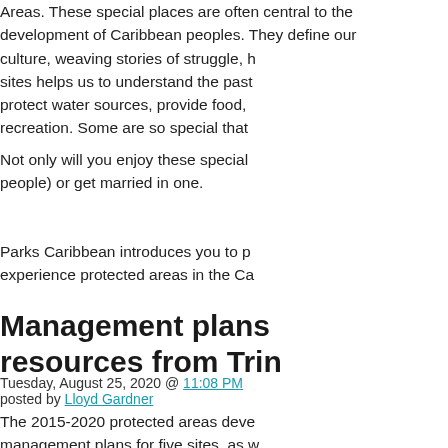Areas. These special places are often central to the development of Caribbean peoples. They define our culture, weaving stories of struggle, heritage and the sites helps us to understand the past, they are vital protect water sources, provide food, and serve as spaces recreation. Some are so special that
Not only will you enjoy these special places (meet great people) or get married in one.
Parks Caribbean introduces you to p... experience protected areas in the Ca...
Management plans resources from Trin
Tuesday, August 25, 2020 @ 11:08 PM posted by Lloyd Gardner
The 2015-2020 protected areas deve... management plans for five sites, as w... communications, participatory planni... Management Plans Guideline Docum...